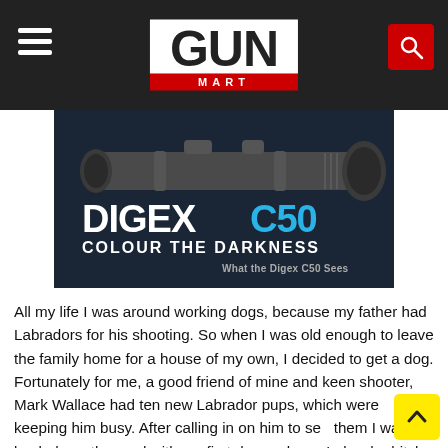GUN MART
[Figure (photo): Product image of the Pulsar Digex C50 digital night vision rifle scope with overlay text 'DIGEX C50 COLOUR THE DARKNESS' and 'What the Digex C50 Sees' on a dark background]
All my life I was around working dogs, because my father had Labradors for his shooting. So when I was old enough to leave the family home for a house of my own, I decided to get a dog. Fortunately for me, a good friend of mine and keen shooter, Mark Wallace had ten new Labrador pups, which were keeping him busy. After calling in on him to see them I was back down the road with my first dog - a black Labrador bitch that I called 'Brae'. With some training s...